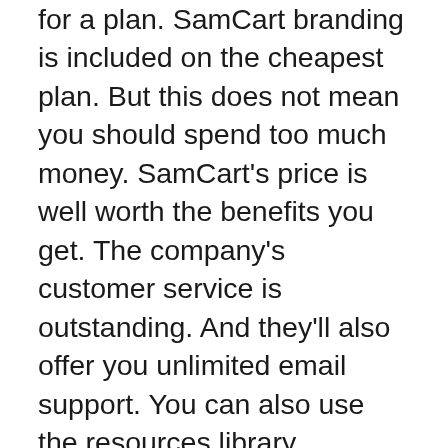for a plan. SamCart branding is included on the cheapest plan. But this does not mean you should spend too much money. SamCart’s price is well worth the benefits you get. The company’s customer service is outstanding. And they’ll also offer you unlimited email support. You can also use the resources library.
A/B testing is also available in SamCart. You can test every aspect of your checkout page and track which variations are converting the best. You can also create new variations and disable the ones that aren’t working. Split-testing is essential in growing a business. A/B testing is one of the simplest and most cost-effective ways to do this. You can also use SamCart’s A/B testing features to find the